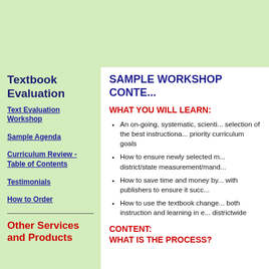Textbook Evaluation
Text Evaluation Workshop
Sample Agenda
Curriculum Review - Table of Contents
Testimonials
How to Order
Other Services and Products
SAMPLE WORKSHOP CONTE...
WHAT YOU WILL LEARN:
An on-going, systematic, scienti... selection of the best instructiona... priority curriculum goals
How to ensure newly selected m... district/state measurement/mand...
How to save time and money by... with publishers to ensure it succ...
How to use the textbook change... both instruction and learning in e... districtwide
CONTENT: WHAT IS THE PROCESS?